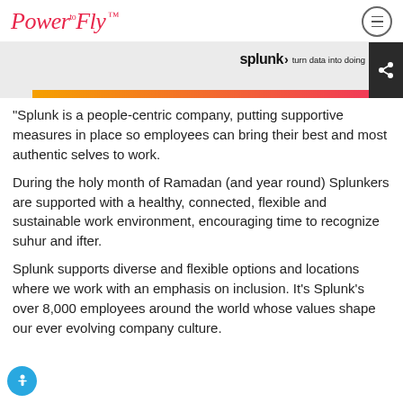PowerFly™
[Figure (logo): Splunk banner with logo and tagline 'splunk > turn data into doing' with gradient bar and share icon]
“Splunk is a people-centric company, putting supportive measures in place so employees can bring their best and most authentic selves to work.
During the holy month of Ramadan (and year round) Splunkers are supported with a healthy, connected, flexible and sustainable work environment, encouraging time to recognize suhur and ifter.
Splunk supports diverse and flexible options and locations where we work with an emphasis on inclusion. It’s Splunk’s over 8,000 employees around the world whose values shape our ever evolving company culture.